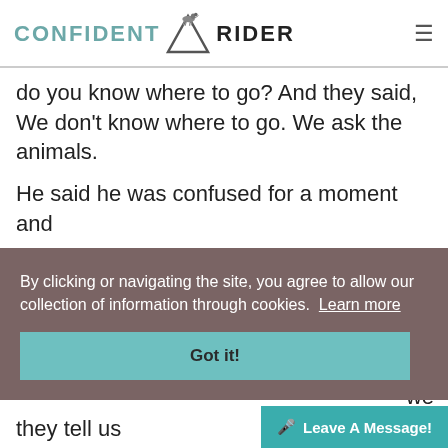CONFIDENT RIDER
do you know where to go? And they said, We don’t know where to go. We ask the animals.
He said he was confused for a moment and
By clicking or navigating the site, you agree to allow our collection of information through cookies. Learn more
Got it!
we and they tell us
Leave A Message!